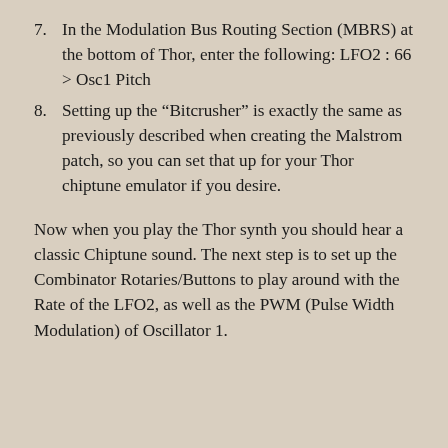7. In the Modulation Bus Routing Section (MBRS) at the bottom of Thor, enter the following: LFO2 : 66 > Osc1 Pitch
8. Setting up the “Bitcrusher” is exactly the same as previously described when creating the Malstrom patch, so you can set that up for your Thor chiptune emulator if you desire.
Now when you play the Thor synth you should hear a classic Chiptune sound. The next step is to set up the Combinator Rotaries/Buttons to play around with the Rate of the LFO2, as well as the PWM (Pulse Width Modulation) of Oscillator 1.